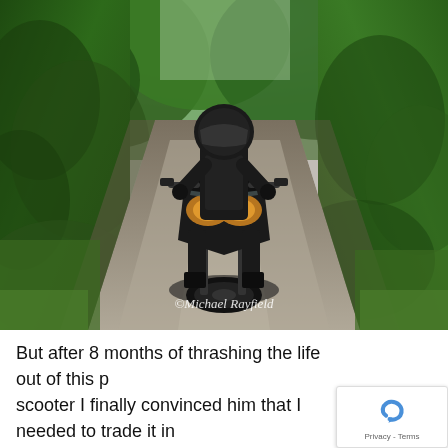[Figure (photo): A motorcyclist wearing black gear and helmet riding a dark adventure/touring motorcycle toward the camera on a gravel dirt road surrounded by lush green vegetation and trees. Watermark reads '©Michael Rayfield' in the lower center of the image.]
But after 8 months of thrashing the life out of this p... scooter I finally convinced him that I needed to trade it in